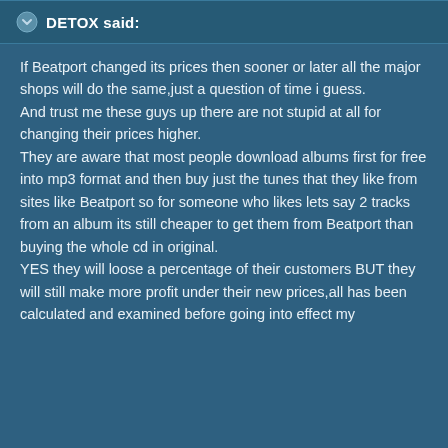DETOX said:
If Beatport changed its prices then sooner or later all the major shops will do the same,just a question of time i guess.
And trust me these guys up there are not stupid at all for changing their prices higher.
They are aware that most people download albums first for free into mp3 format and then buy just the tunes that they like from sites like Beatport so for someone who likes lets say 2 tracks from an album its still cheaper to get them from Beatport than buying the whole cd in original.
YES they will loose a percentage of their customers BUT they will still make more profit under their new prices,all has been calculated and examined before going into effect my